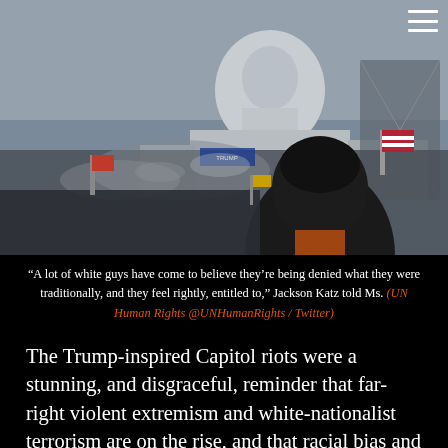[Figure (photo): Crowd scene at the US Capitol building during the January 6 riot, with smoke, flags including an American flag, and a large dome visible in the background. A person in a dark jacket and beanie is visible in the foreground.]
“A lot of white guys have come to believe they’re being denied what they were traditionally, and they feel rightly, entitled to,” Jackson Katz told Ms. (UN Human Rights @UNHumanRights / Twitter)
The Trump-inspired Capitol riots were a stunning, and disgraceful, reminder that far-right violent extremism and white-nationalist terrorism are on the rise, and that racial bias and double standards in law enforcement are a fact of